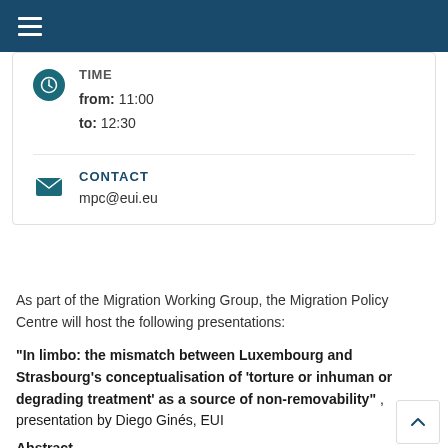TIME
from: 11:00
to: 12:30
CONTACT
mpc@eui.eu
As part of the Migration Working Group, the Migration Policy Centre will host the following presentations:
“In limbo: the mismatch between Luxembourg and Strasbourg’s conceptualisation of ‘torture or inhuman or degrading treatment’ as a source of non-removability”’ , presentation by Diego Ginés, EUI
Abstract